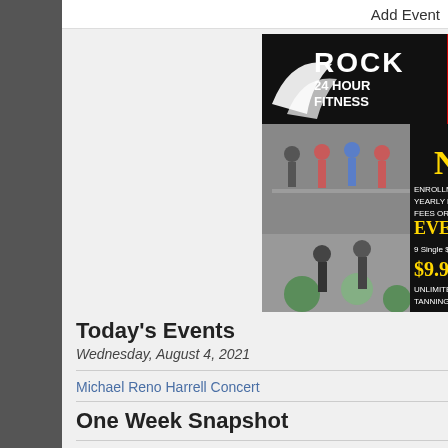Add Event
[Figure (photo): Rock 24 Hour Fitness advertisement banner. Red and black design with gym logo, fitness class photos, and text: NO ENROLLMENT FEES, YEARLY MAINTENANCE FEES OR KEY FEES - EVER!!! 9 Single $29 Family $9.99 UNLIMITED TANNING!! Local Fam... GYM, THE ROC, 704, www., LOTS Zumba, Kic, BOOt Ca, Core Classs, Silver S]
Today's Events
Wednesday, August 4, 2021
Michael Reno Harrell Concert
One Week Snapshot